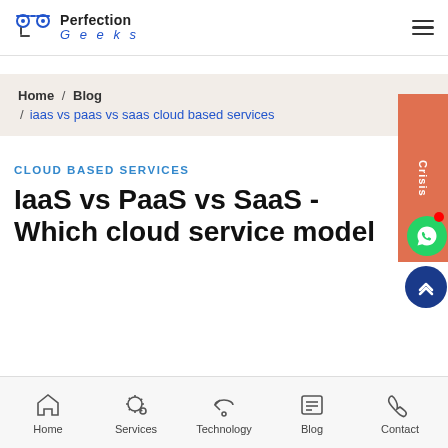[Figure (logo): Perfection Geeks logo with glasses icon and stylized text]
Home / Blog / iaas vs paas vs saas cloud based services
CLOUD BASED SERVICES
IaaS vs PaaS vs SaaS - Which cloud service model
Home  Services  Technology  Blog  Contact